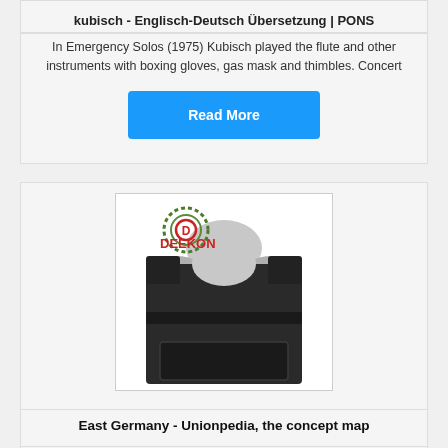kubisch - Englisch-Deutsch Übersetzung | PONS
In Emergency Solos (1975) Kubisch played the flute and other instruments with boxing gloves, gas mask and thimbles. Concert
Read More
[Figure (photo): A tactical/bulletproof vest displayed on a mannequin torso, with a DEEKON brand logo in the upper left corner of the image.]
East Germany - Unionpedia, the concept map
East Germany, officially the German Democratic Republic (GDR;